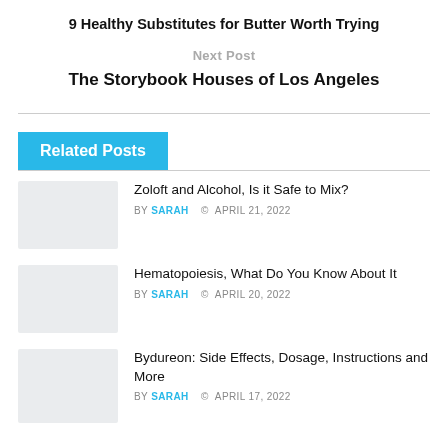9 Healthy Substitutes for Butter Worth Trying
Next Post
The Storybook Houses of Los Angeles
Related Posts
Zoloft and Alcohol, Is it Safe to Mix?
BY SARAH  © APRIL 21, 2022
Hematopoiesis, What Do You Know About It
BY SARAH  © APRIL 20, 2022
Bydureon: Side Effects, Dosage, Instructions and More
BY SARAH  © APRIL 17, 2022